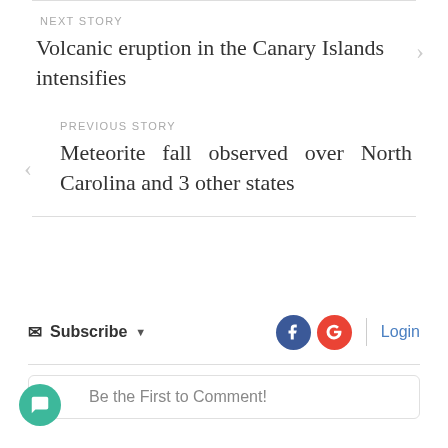NEXT STORY
Volcanic eruption in the Canary Islands intensifies
PREVIOUS STORY
Meteorite fall observed over North Carolina and 3 other states
Subscribe
Login
Be the First to Comment!